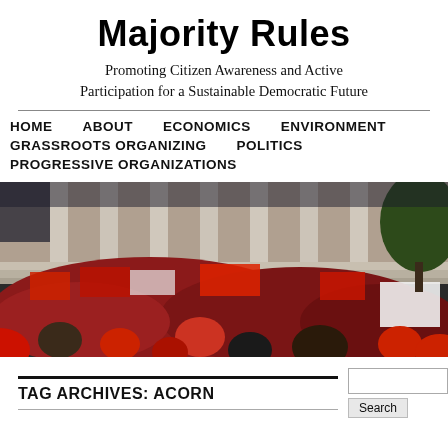Majority Rules
Promoting Citizen Awareness and Active Participation for a Sustainable Democratic Future
HOME
ABOUT
ECONOMICS
ENVIRONMENT
GRASSROOTS ORGANIZING
POLITICS
PROGRESSIVE ORGANIZATIONS
[Figure (photo): Large crowd of protesters in red, holding signs in front of a columned government building]
TAG ARCHIVES: ACORN